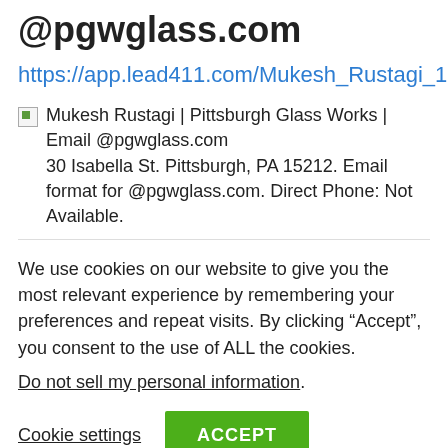@pgwglass.com
https://app.lead411.com/Mukesh_Rustagi_18385335.html
[Figure (other): Broken image icon placeholder followed by snippet text: Mukesh Rustagi | Pittsburgh Glass Works | Email @pgwglass.com 30 Isabella St. Pittsburgh, PA 15212. Email format for @pgwglass.com. Direct Phone: Not Available.]
We use cookies on our website to give you the most relevant experience by remembering your preferences and repeat visits. By clicking “Accept”, you consent to the use of ALL the cookies.
Do not sell my personal information.
Cookie settings
ACCEPT